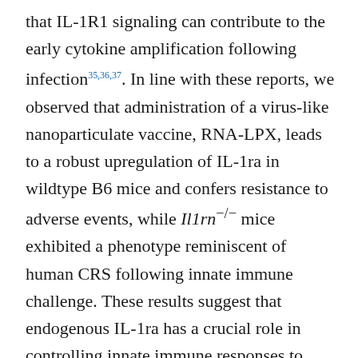that IL-1R1 signaling can contribute to the early cytokine amplification following infection35,36,37. In line with these reports, we observed that administration of a virus-like nanoparticulate vaccine, RNA-LPX, leads to a robust upregulation of IL-1ra in wildtype B6 mice and confers resistance to adverse events, while Il1rn−/− mice exhibited a phenotype reminiscent of human CRS following innate immune challenge. These results suggest that endogenous IL-1ra has a crucial role in controlling innate immune responses to pathogens, as shown for Mycobacterium tuberculosis38. In addition, reduced sensitivity of mouse blood cells to RNA-LPX could be partially explained by the lower frequency of monocytes in mice when compared with humans, as we and others